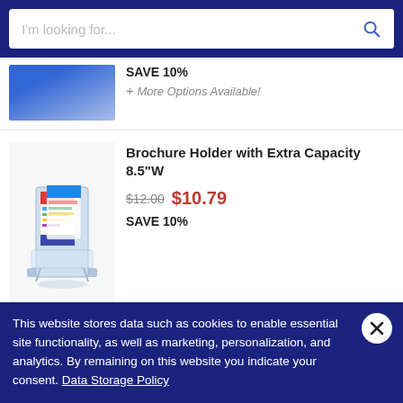I'm looking for... [search bar]
SAVE 10%
+ More Options Available!
[Figure (photo): Brochure holder product photo showing a clear acrylic multi-brochure display stand with colorful brochures inserted]
Brochure Holder with Extra Capacity 8.5"W
$12.00 $10.79 SAVE 10%
[Figure (photo): Partial product image for Quick Fabric Tabletop Display Hardware]
Quick Fabric Tabletop Display Hardware
This website stores data such as cookies to enable essential site functionality, as well as marketing, personalization, and analytics. By remaining on this website you indicate your consent. Data Storage Policy